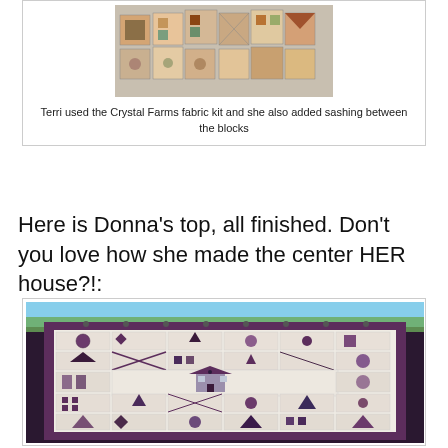[Figure (photo): A quilt top made with Crystal Farms fabric kit, laid out showing multiple patchwork blocks with various patterns in earthy tones, with sashing between the blocks.]
Terri used the Crystal Farms fabric kit and she also added sashing between the blocks
Here is Donna's top, all finished. Don't you love how she made the center HER house?!:
[Figure (photo): Donna's finished quilt top hanging outdoors, featuring a grid of patchwork blocks in purple, mauve, and cream tones. The center block depicts a house. The quilt is hung on a wooden fence with a purple border.]